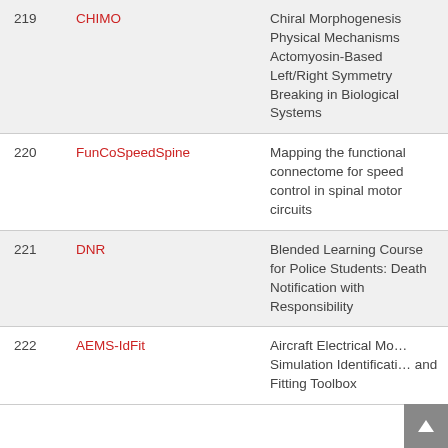| # | Acronym | Description |
| --- | --- | --- |
| 219 | CHIMO | Chiral Morphogenesis Physical Mechanisms Actomyosin-Based Left/Right Symmetry Breaking in Biological Systems |
| 220 | FunCoSpeedSpine | Mapping the functional connectome for speed control in spinal motor circuits |
| 221 | DNR | Blended Learning Course for Police Students: Death Notification with Responsibility |
| 222 | AEMS-IdFit | Aircraft Electrical Model Simulation Identification and Fitting Toolbox |